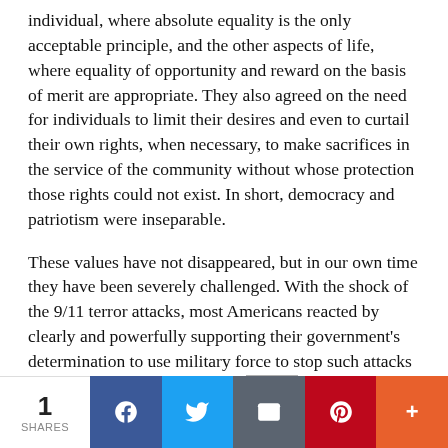individual, where absolute equality is the only acceptable principle, and the other aspects of life, where equality of opportunity and reward on the basis of merit are appropriate. They also agreed on the need for individuals to limit their desires and even to curtail their own rights, when necessary, to make sacrifices in the service of the community without whose protection those rights could not exist. In short, democracy and patriotism were inseparable.
These values have not disappeared, but in our own time they have been severely challenged. With the shock of the 9/11 terror attacks, most Americans reacted by clearly and powerfully supporting their government's determination to use military force to stop such attacks and to prevent future ones. Mo[obscured]
1 SHARES | Facebook | Twitter | Email | Pinterest | More